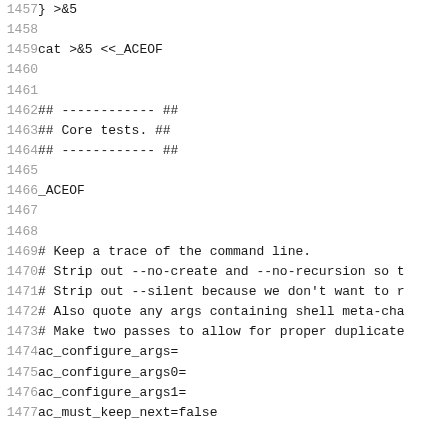1457  } >&5
1458
1459  cat >&5 <<_ACEOF
1460
1461
1462  ## ------------ ##
1463  ## Core tests. ##
1464  ## ------------ ##
1465
1466  _ACEOF
1467
1468
1469  # Keep a trace of the command line.
1470  # Strip out --no-create and --no-recursion so t
1471  # Strip out --silent because we don't want to r
1472  # Also quote any args containing shell meta-cha
1473  # Make two passes to allow for proper duplicate
1474  ac_configure_args=
1475  ac_configure_args0=
1476  ac_configure_args1=
1477  ac_must_keep_next=false